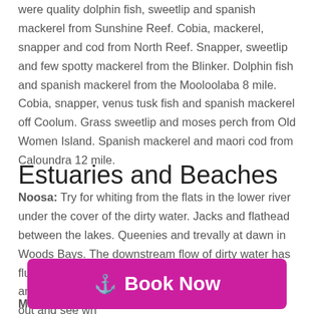were quality dolphin fish, sweetlip and spanish mackerel from Sunshine Reef. Cobia, mackerel, snapper and cod from North Reef. Snapper, sweetlip and few spotty mackerel from the Blinker. Dolphin fish and spanish mackerel from the Mooloolaba 8 mile. Cobia, snapper, venus tusk fish and spanish mackerel off Coolum. Grass sweetlip and moses perch from Old Women Island. Spanish mackerel and maori cod from Caloundra 12 mile.
Estuaries and Beaches
Noosa: Try for whiting from the flats in the lower river under the cover of the dirty water. Jacks and flathead between the lakes. Queenies and trevally at dawn in Woods Bays. The downstream flow of dirty water has flushed the crabs out of the mangroves and creeks and into the middle and lower river, so put your pots out and see wh...
Maroo... fresh water so the mud crabs are throughout the river
[Figure (other): Book Now button with anchor icon, magenta/pink background]